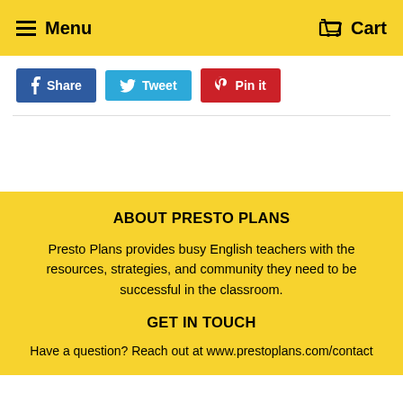Menu   Cart
Share
Tweet
Pin it
ABOUT PRESTO PLANS
Presto Plans provides busy English teachers with the resources, strategies, and community they need to be successful in the classroom.
GET IN TOUCH
Have a question?  Reach out at www.prestoplans.com/contact